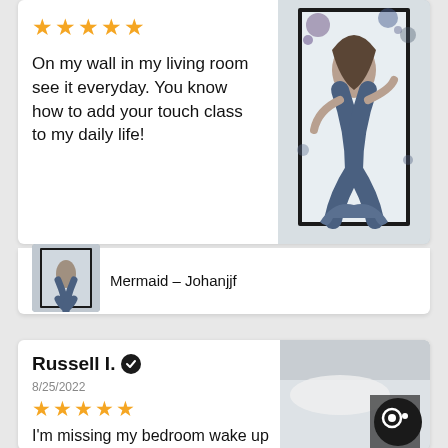★★★★★
On my wall in my living room see it everyday. You know how to add your touch class to my daily life!
[Figure (photo): Framed mermaid artwork hanging on a white wall]
Mermaid - Johanjjf
[Figure (photo): Small thumbnail of mermaid artwork in room setting]
Russell I. ✔
8/25/2022
★★★★★
I'm missing my bedroom wake up too with everyday love it!
[Figure (photo): Bedroom photo with partial artwork visible, chat bubble overlay]